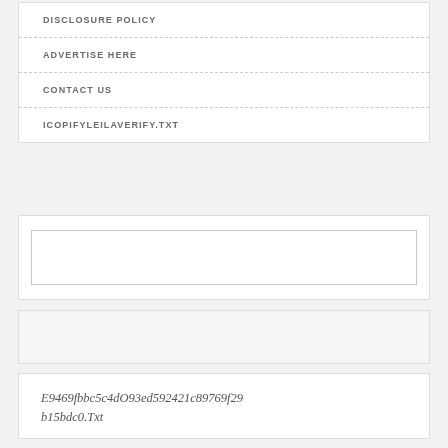DISCLOSURE POLICY
ADVERTISE HERE
CONTACT US
ICOPIFYLEILAVERIFY.TXT
[Figure (other): Empty search input box]
[Figure (other): Empty banner/advertisement box]
E9469fbbc5c4dO93ed592421c89769f29b15bdc0.Txt